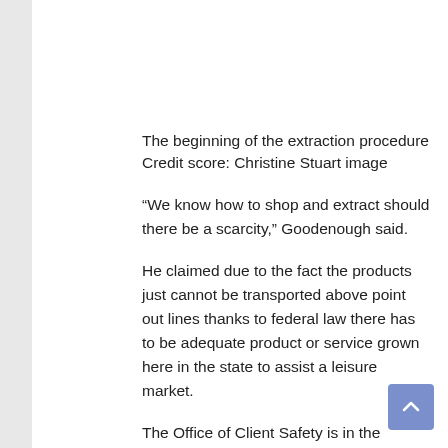The beginning of the extraction procedure
Credit score: Christine Stuart image
“We know how to shop and extract should there be a scarcity,” Goodenough said.
He claimed due to the fact the products just cannot be transported above point out lines thanks to federal law there has to be adequate product or service grown here in the state to assist a leisure market.
The Office of Client Safety is in the system of figuring out who will get a license to grow cannabis and believes there will be more than